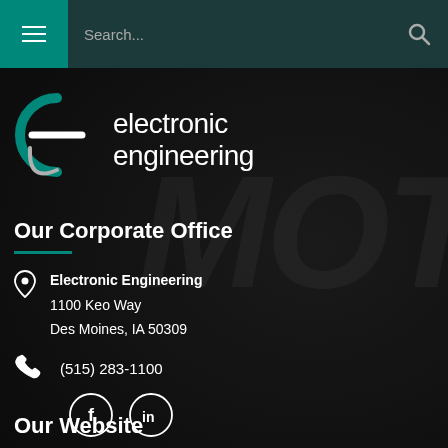[Figure (screenshot): Website header navigation bar with teal hamburger menu button on left, search bar with placeholder text 'Search...' and search icon on dark background]
[Figure (logo): Electronic Engineering company logo: stylized 'e' in teal circle with white text 'electronic engineering' on dark background]
Our Corporate Office
Electronic Engineering
1100 Keo Way
Des Moines, IA 50309
(515) 283-1100
[Figure (infographic): Facebook and LinkedIn social media circular icon buttons in white outline on dark background]
Our Website